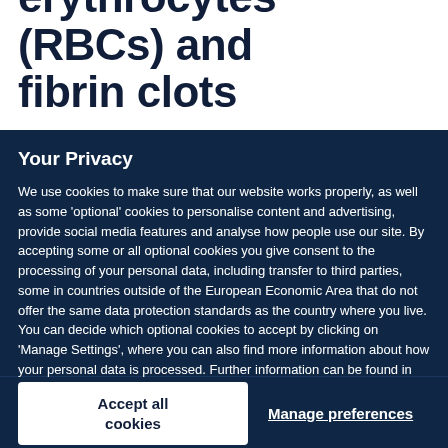erythrocytes (RBCs) and fibrin clots
Your Privacy
We use cookies to make sure that our website works properly, as well as some 'optional' cookies to personalise content and advertising, provide social media features and analyse how people use our site. By accepting some or all optional cookies you give consent to the processing of your personal data, including transfer to third parties, some in countries outside of the European Economic Area that do not offer the same data protection standards as the country where you live. You can decide which optional cookies to accept by clicking on 'Manage Settings', where you can also find more information about how your personal data is processed. Further information can be found in our privacy policy.
Accept all cookies
Manage preferences